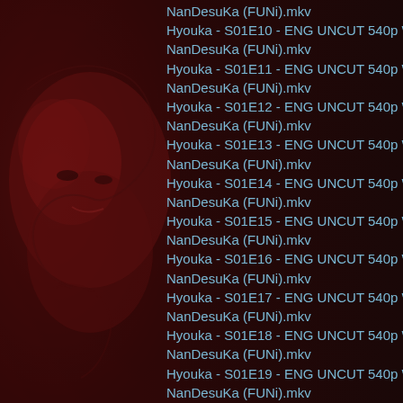[Figure (screenshot): Dark red background with anime character artwork on the left side]
NanDesuKa (FUNi).mkv
Hyouka - S01E10 - ENG UNCUT 540p WEB H.2
NanDesuKa (FUNi).mkv
Hyouka - S01E11 - ENG UNCUT 540p WEB H.2
NanDesuKa (FUNi).mkv
Hyouka - S01E12 - ENG UNCUT 540p WEB H.2
NanDesuKa (FUNi).mkv
Hyouka - S01E13 - ENG UNCUT 540p WEB H.2
NanDesuKa (FUNi).mkv
Hyouka - S01E14 - ENG UNCUT 540p WEB H.2
NanDesuKa (FUNi).mkv
Hyouka - S01E15 - ENG UNCUT 540p WEB H.2
NanDesuKa (FUNi).mkv
Hyouka - S01E16 - ENG UNCUT 540p WEB H.2
NanDesuKa (FUNi).mkv
Hyouka - S01E17 - ENG UNCUT 540p WEB H.2
NanDesuKa (FUNi).mkv
Hyouka - S01E18 - ENG UNCUT 540p WEB H.2
NanDesuKa (FUNi).mkv
Hyouka - S01E19 - ENG UNCUT 540p WEB H.2
NanDesuKa (FUNi).mkv
Hyouka - S01E20 - ENG UNCUT 540p WEB H.2
NanDesuKa (FUNi).mkv
Hyouka - S01E21 - ENG UNCUT 540p WEB H.2
NanDesuKa (FUNi).mkv
Hyouka - S01E22 - ENG UNCUT 540p WEB H.2
NanDesuKa (FUNi).mkv